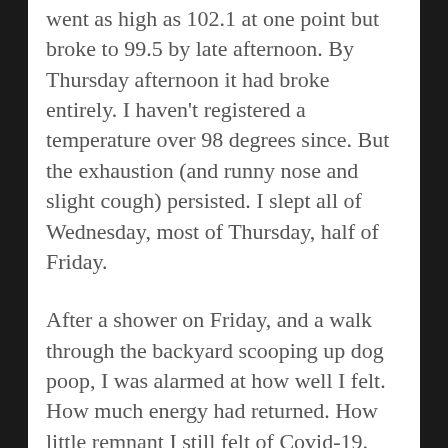went as high as 102.1 at one point but broke to 99.5 by late afternoon. By Thursday afternoon it had broke entirely. I haven't registered a temperature over 98 degrees since. But the exhaustion (and runny nose and slight cough) persisted. I slept all of Wednesday, most of Thursday, half of Friday.
After a shower on Friday, and a walk through the backyard scooping up dog poop, I was alarmed at how well I felt. How much energy had returned. How little remnant I still felt of Covid-19.